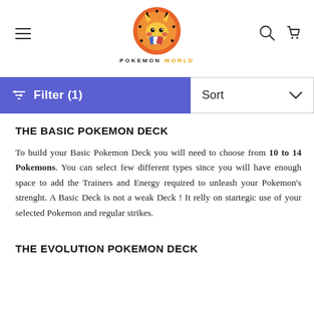[Figure (logo): Pokemon World logo with Pikachu in orange circle, text POKEMON WORLD below]
POKEMON WORLD (navigation header with hamburger menu, search icon, cart icon)
Filter (1)
Sort
THE BASIC POKEMON DECK
To build your Basic Pokemon Deck you will need to choose from 10 to 14 Pokemons. You can select few different types since you will have enough space to add the Trainers and Energy required to unleash your Pokemon's strenght. A Basic Deck is not a weak Deck ! It relly on startegic use of your selected Pokemon and regular strikes.
THE EVOLUTION POKEMON DECK